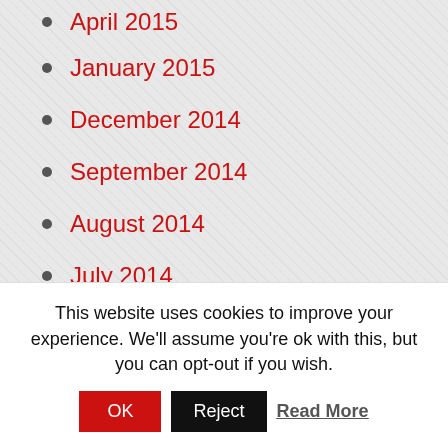April 2015
January 2015
December 2014
September 2014
August 2014
July 2014
June 2014
May 2014
April 2014
March 2014
February 2014
January 2014
December 2013
November 2013
This website uses cookies to improve your experience. We'll assume you're ok with this, but you can opt-out if you wish.